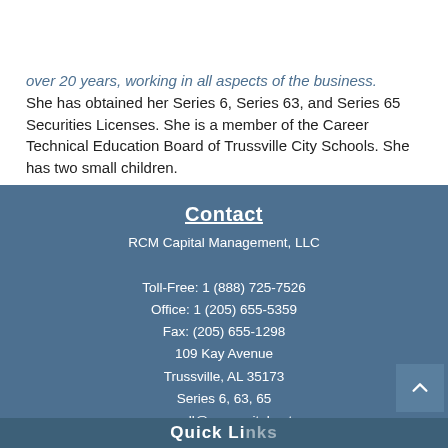over 20 years, working in all aspects of the business. She has obtained her Series 6, Series 63, and Series 65 Securities Licenses. She is a member of the Career Technical Education Board of Trussville City Schools. She has two small children.
Contact
RCM Capital Management, LLC
Toll-Free: 1 (888) 725-7526
Office: 1 (205) 655-5359
Fax: (205) 655-1298
109 Kay Avenue
Trussville, AL 35173
Series 6, 63, 65
russell@rcmcapital.net
Quick Links